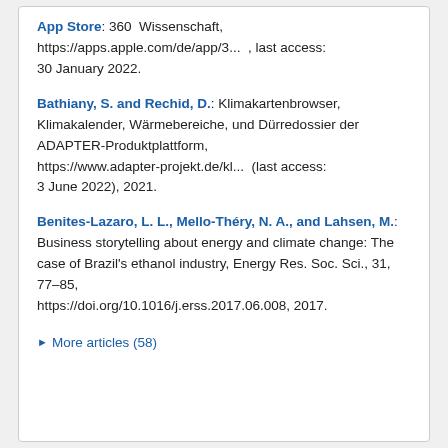App Store: 360  Wissenschaft, https://apps.apple.com/de/app/3... , last access: 30 January 2022.
Bathiany, S. and Rechid, D.: Klimakartenbrowser, Klimakalender, Wärmebereiche, und Dürredossier der ADAPTER-Produktplattform, https://www.adapter-projekt.de/kl... (last access: 3 June 2022), 2021.
Benites-Lazaro, L. L., Mello-Théry, N. A., and Lahsen, M.: Business storytelling about energy and climate change: The case of Brazil's ethanol industry, Energy Res. Soc. Sci., 31, 77–85, https://doi.org/10.1016/j.erss.2017.06.008, 2017.
▶ More articles (58)